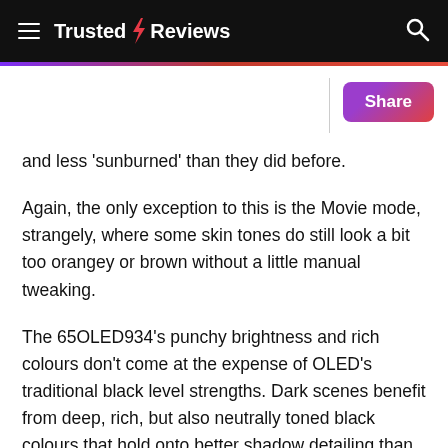Trusted Reviews
and less 'sunburned' than they did before.
Again, the only exception to this is the Movie mode, strangely, where some skin tones do still look a bit too orangey or brown without a little manual tweaking.
The 65OLED934's punchy brightness and rich colours don't come at the expense of OLED's traditional black level strengths. Dark scenes benefit from deep, rich, but also neutrally toned black colours that hold onto better shadow detailing than we saw with Philips' previous generation of OLED TVs.
The only exception to this, again, is the Movie picture preset. Black areas of the picture can sometimes look a bit